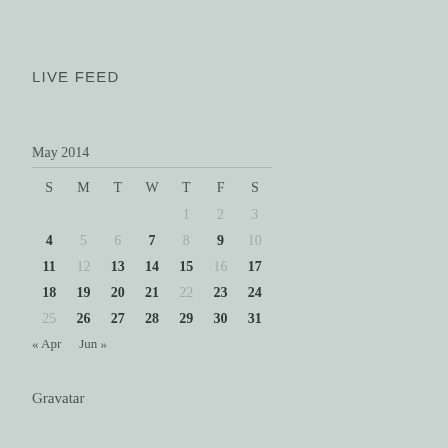LIVE FEED
| S | M | T | W | T | F | S |
| --- | --- | --- | --- | --- | --- | --- |
|  |  |  |  | 1 | 2 | 3 |
| 4 | 5 | 6 | 7 | 8 | 9 | 10 |
| 11 | 12 | 13 | 14 | 15 | 16 | 17 |
| 18 | 19 | 20 | 21 | 22 | 23 | 24 |
| 25 | 26 | 27 | 28 | 29 | 30 | 31 |
« Apr   Jun »
Gravatar